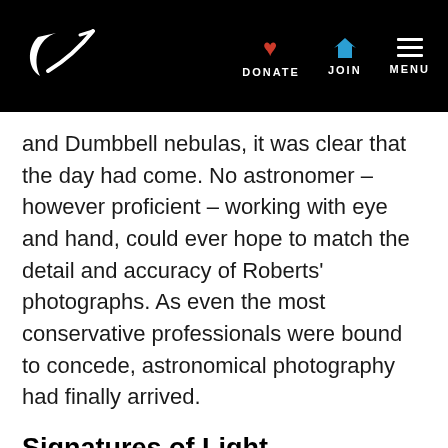Planetary Society logo | DONATE | JOIN | MENU
and Dumbbell nebulas, it was clear that the day had come. No astronomer – however proficient – working with eye and hand, could ever hope to match the detail and accuracy of Roberts' photographs. As even the most conservative professionals were bound to concede, astronomical photography had finally arrived.
Signatures of Light
Powerful as astronomical photography